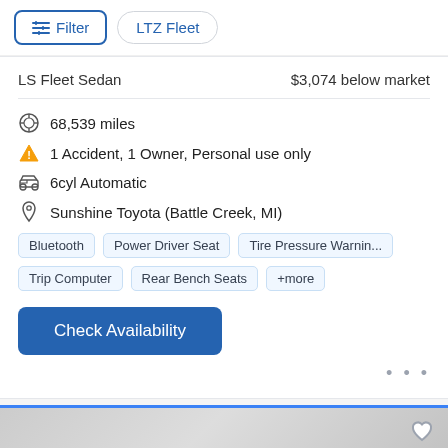Filter  LTZ Fleet
LS Fleet Sedan
$3,074 below market
68,539 miles
1 Accident, 1 Owner, Personal use only
6cyl Automatic
Sunshine Toyota (Battle Creek, MI)
Bluetooth  Power Driver Seat  Tire Pressure Warnin...  Trip Computer  Rear Bench Seats  +more
Check Availability
[Figure (photo): Dark colored sedan car photograph with CARSANA watermark on grey background]